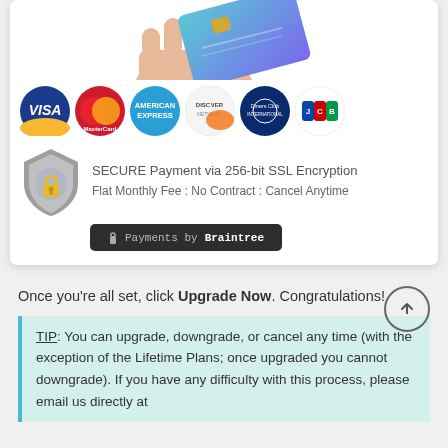[Figure (infographic): Payment methods card showing credit card logos (Visa, MasterCard, American Express, Discover, Diners Club, JCB), a security shield with lock icon, text 'SECURE Payment via 256-bit SSL Encryption', 'Flat Monthly Fee : No Contract : Cancel Anytime', and a Braintree payments badge]
Once you're all set, click Upgrade Now. Congratulations!
TIP: You can upgrade, downgrade, or cancel any time (with the exception of the Lifetime Plans; once upgraded you cannot downgrade). If you have any difficulty with this process, please email us directly at